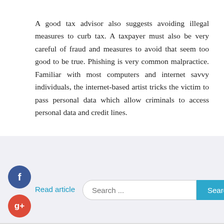A good tax advisor also suggests avoiding illegal measures to curb tax. A taxpayer must also be very careful of fraud and measures to avoid that seem too good to be true. Phishing is very common malpractice. Familiar with most computers and internet savvy individuals, the internet-based artist tricks the victim to pass personal data which allow criminals to access personal data and credit lines.
[Figure (infographic): Social media icons: Facebook (blue circle with f), Google Plus (red circle with g+), Twitter (blue circle with bird), Plus/share (dark circle with +), and a Read article link in cyan.]
Read article
[Figure (screenshot): Search bar with placeholder text 'Search ...' and a teal Search button.]